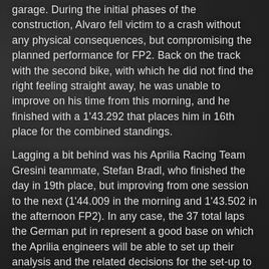garage. During the initial phases of the construction, Alvaro fell victim to a crash without any physical consequences, but compromising the planned performance for FP2. Back on the track with the second bike, with which he did not find the right feeling straight away, he was unable to improve on his time from this morning, and he finished with a 1'43.292 that places him in 16th place for the combined standings.
Lagging a bit behind was his Aprilia Racing Team Gresini teammate, Stefan Bradl, who finished the day in 19th place, but improving from one session to the next (1'44.009 in the morning and 1'43.502 in the afternoon FP2). In any case, the 37 total laps the German put in represent a good base on which the Aprilia engineers will be able to set up their analysis and the related decisions for the set-up to use tomorrow, when the starting grid order will be decided.